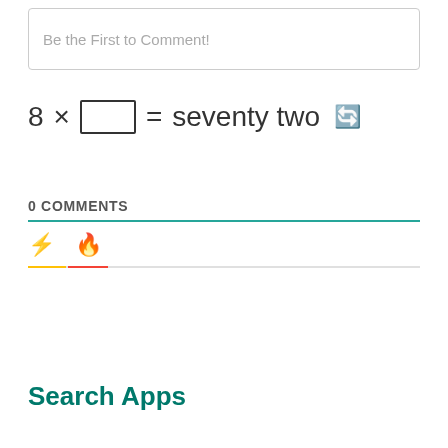Be the First to Comment!
0 COMMENTS
[Figure (screenshot): Comment section tabs with lightning bolt icon (yellow) and flame icon (red-orange), with colored underlines indicating active/inactive tabs]
Search Apps